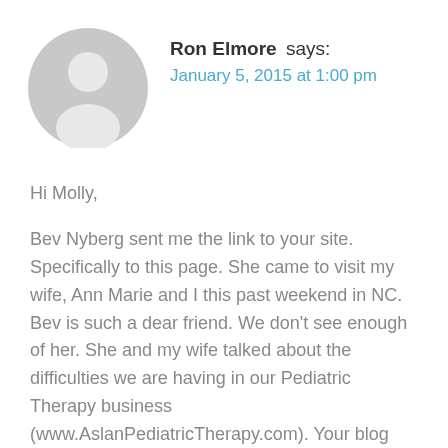[Figure (illustration): Gray circular avatar placeholder with silhouette of a person (head and shoulders), typical generic user profile image]
Ron Elmore says:
January 5, 2015 at 1:00 pm
Hi Molly,
Bev Nyberg sent me the link to your site. Specifically to this page. She came to visit my wife, Ann Marie and I this past weekend in NC. Bev is such a dear friend. We don't see enough of her. She and my wife talked about the difficulties we are having in our Pediatric Therapy business (www.AslanPediatricTherapy.com). Your blog was a great source of encouragement today. Thanks for helping us with perspective.